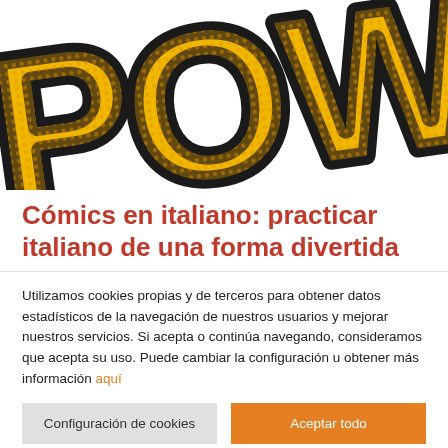[Figure (illustration): Pop-art style comic book graphic showing large bold yellow letters with black outline and halftone dot pattern spelling 'POW!' partially cropped at top]
Cómics en italiano: practicar italiano de una forma divertida
Utilizamos cookies propias y de terceros para obtener datos estadísticos de la navegación de nuestros usuarios y mejorar nuestros servicios. Si acepta o continúa navegando, consideramos que acepta su uso. Puede cambiar la configuración u obtener más información aquí
Configuración de cookies | Aceptar todo